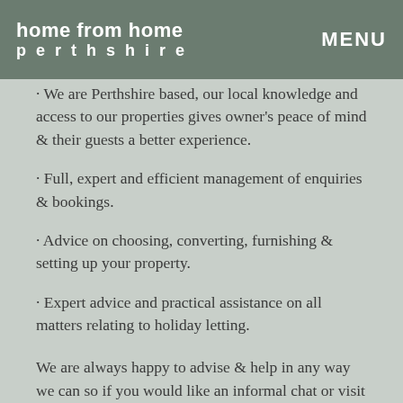home from home perthshire   MENU
· We are Perthshire based, our local knowledge and access to our properties gives owner's peace of mind & their guests a better experience.
· Full, expert and efficient management of enquiries & bookings.
· Advice on choosing, converting, furnishing & setting up your property.
· Expert advice and practical assistance on all matters relating to holiday letting.
We are always happy to advise & help in any way we can so if you would like an informal chat or visit (no obligation) please email us enquiries@homefromhomeperthshire.com or call (01796) 470068